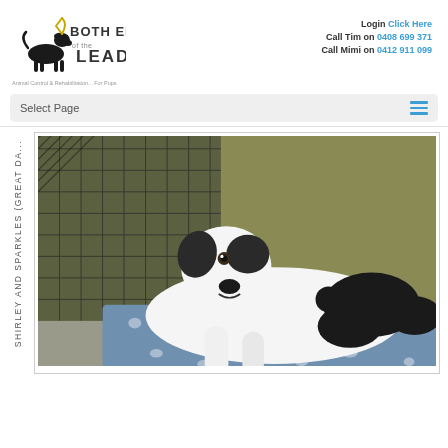[Figure (logo): Both Ends of the Lead logo with dog silhouette and text]
Animal Control & Rehabilitation... For Pups
Login Click Here
Call Tim on 0408 699 371
Call Mimi on 0412 911 099
Select Page
Shirley and Sparkles (Great Da...
[Figure (photo): A large black and white Great Dane dog lying on a blue spotted mat outdoors near a screen door]